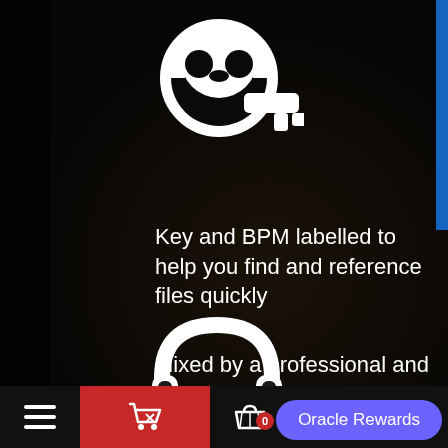[Figure (illustration): White key icon on dark background, representing musical key labeling feature]
Key and BPM labelled to help you find and reference files quickly
[Figure (illustration): White headphones icon on dark background, representing audio/music feature]
Mixed by a professional and
[Figure (screenshot): Mobile app bottom navigation bar with hamburger menu, red cart button, basket with badge '0', and purple Oracle Rewards button]